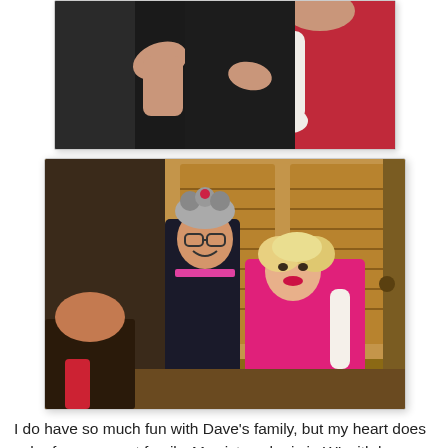[Figure (photo): Top portion of a photo showing two people in Halloween costumes, one in dark clothing and one in a red/pink outfit with white gloves, cropped at the top of the page.]
[Figure (photo): A couple in Halloween costumes at an indoor party. The man is wearing a funny hat with curlers and glasses, dressed in dark clothing with a pink sash. The woman has curly blonde hair and is wearing a bright pink/hot pink outfit. They are posing together smiling in front of wooden shuttered windows.]
I do have so much fun with Dave's family, but my heart does ache for my sweet family. My sister who is in WI with her husband and kids, my brother Brock in WA with his family, my sweet brother Paul with his amazing wife and their children in Orem (but is so busy with nursing) and of course my Mom and Dad who I wish I could see everyday. I was glad to see all of them getting dressed up for Halloween though and having a great time. Kirk and Cay even dressed up this year, which I thought was so much fun. Thanksgiving